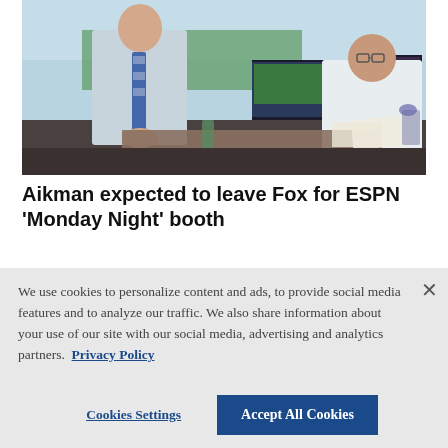[Figure (photo): Two men in a broadcast booth at a football stadium. One man stands wearing a light blue shirt and striped tie, the other sits at a desk with multiple monitors showing a football field and broadcast equipment.]
Aikman expected to leave Fox for ESPN 'Monday Night' booth
We use cookies to personalize content and ads, to provide social media features and to analyze our traffic. We also share information about your use of our site with our social media, advertising and analytics partners.  Privacy Policy
Cookies Settings
Accept All Cookies